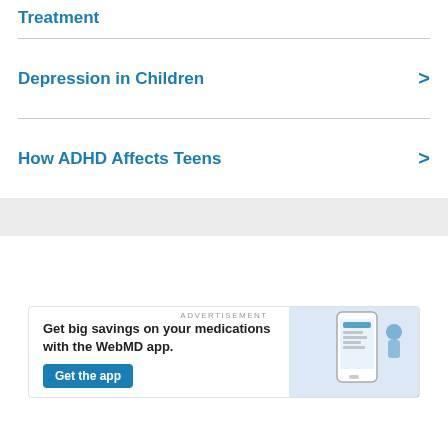Treatment
Depression in Children
How ADHD Affects Teens
[Figure (other): Advertisement banner for WebMD app with text 'Get big savings on your medications with the WebMD app.' and a 'Get the app' button, with a phone image on the right.]